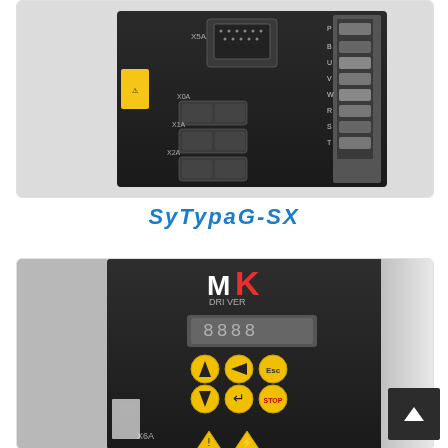[Figure (photo): Close-up photo of a black industrial servo drive/controller unit showing Ethernet ports labeled X0A, X1A, X2A, a D-sub connector labeled X5A, and terminal connectors on the right side labeled P, B, U, V, W, R, S, T. Yellow warning label visible.]
SyTypaG-SX
[Figure (photo): Photo of a black MK DRIVER frequency inverter/drive unit with digital display showing segments, yellow navigation/control buttons (up, left, Esc, down, Enter, Stop), yellow warning triangle labels at the bottom, and X6A label. A dark scroll-to-top button is visible in the bottom-right corner.]